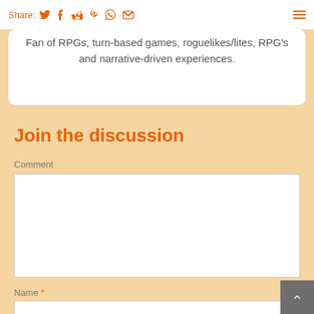Share: [Twitter] [Facebook] [Reddit] [Pinterest] [WhatsApp] [Email]
Fan of RPGs, turn-based games, roguelikes/lites, RPG's and narrative-driven experiences.
Join the discussion
Comment
Name *